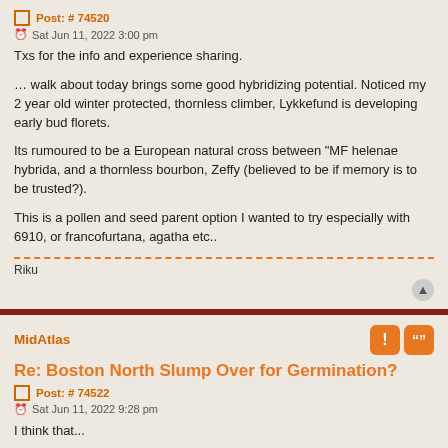Post: # 74520
Sat Jun 11, 2022 3:00 pm
Txs for the info and experience sharing.
… walk about today brings some good hybridizing potential. Noticed my 2 year old winter protected, thornless climber, Lykkefund is developing early bud florets.
Its rumoured to be a European natural cross between "MF helenae hybrida, and a thornless bourbon, Zeffy (believed to be if memory is to be trusted?).
This is a pollen and seed parent option I wanted to try especially with 6910, or francofurtana, agatha etc..
Riku
MidAtlas
Re: Boston North Slump Over for Germination?
Post: # 74522
Sat Jun 11, 2022 9:28 pm
I think that...